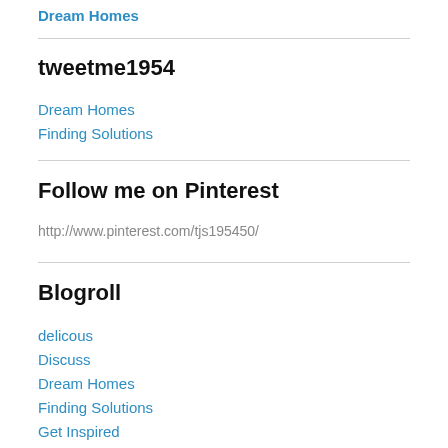Dream Homes
tweetme1954
Dream Homes
Finding Solutions
Follow me on Pinterest
http://www.pinterest.com/tjs195450/
Blogroll
delicous
Discuss
Dream Homes
Finding Solutions
Get Inspired